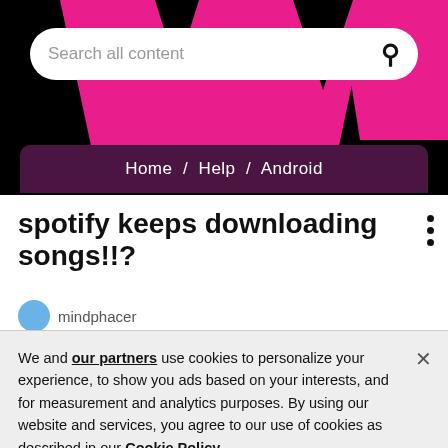[Figure (screenshot): Spotify website header with pink and black angular design, search bar, and navigation breadcrumb showing Home / Help / Android]
spotify keeps downloading songs!!?
mindphacer
We and our partners use cookies to personalize your experience, to show you ads based on your interests, and for measurement and analytics purposes. By using our website and services, you agree to our use of cookies as described in our Cookie Policy.